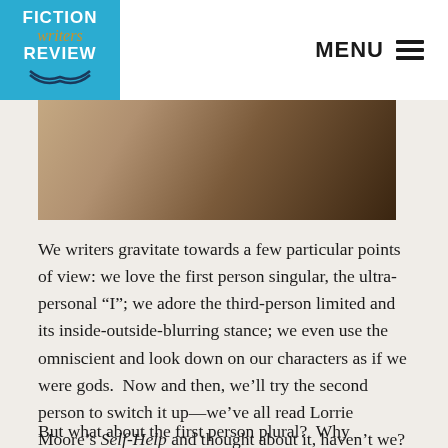FICTION writers REVIEW  MENU
[Figure (photo): A close-up photo of a person, partially visible, with warm brown and dark tones.]
We writers gravitate towards a few particular points of view: we love the first person singular, the ultra-personal “I”; we adore the third-person limited and its inside-outside-blurring stance; we even use the omniscient and look down on our characters as if we were gods.  Now and then, we’ll try the second person to switch it up—we’ve all read Lorrie Moore’s Self-Help and thought about it, haven’t we?
But what about the first person plural?  Why